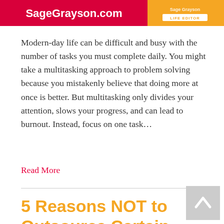[Figure (logo): SageGrayson.com banner with red and orange sections, white bold text and LIFE EDITOR badge]
Modern-day life can be difficult and busy with the number of tasks you must complete daily. You might take a multitasking approach to problem solving because you mistakenly believe that doing more at once is better. But multitasking only divides your attention, slows your progress, and can lead to burnout. Instead, focus on one task…
Read More
5 Reasons NOT to Outsource Certain Business Tasks